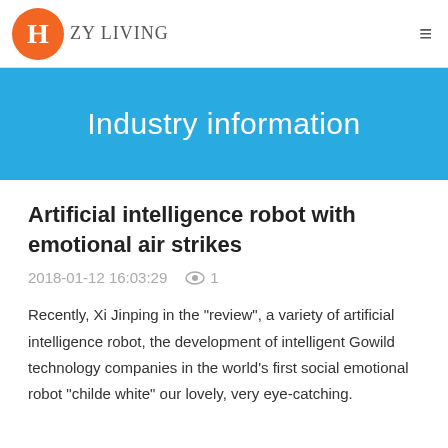H ZY LIVING
Industry information
Artificial intelligence robot with emotional air strikes
2018-01-12 16:03:29   👁 1
Recently, Xi Jinping in the "review", a variety of artificial intelligence robot, the development of intelligent Gowild technology companies in the world's first social emotional robot "childe white" our lovely, very eye-catching.